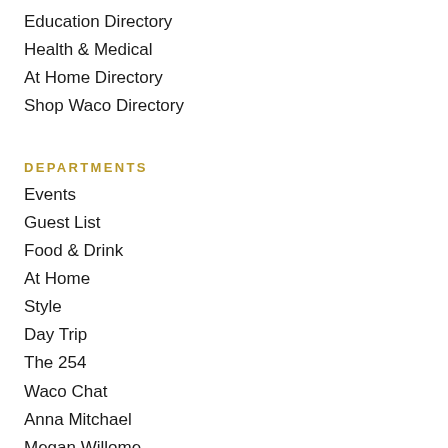Education Directory
Health & Medical
At Home Directory
Shop Waco Directory
DEPARTMENTS
Events
Guest List
Food & Drink
At Home
Style
Day Trip
The 254
Waco Chat
Anna Mitchael
Megan Willome
Videos
SPECIAL SECTIONS
The Crackle